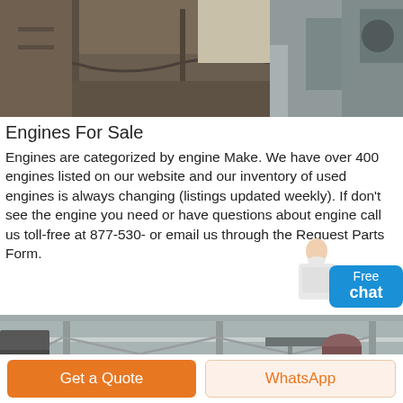[Figure (photo): Industrial machinery photo showing metal surfaces, pipes, and equipment parts]
Engines For Sale
Engines are categorized by engine Make. We have over 400 engines listed on our website and our inventory of used engines is always changing (listings updated weekly). If don't see the engine you need or have questions about engine call us toll-free at 877-530- or email us through the Request Parts Form.
[Figure (photo): Industrial warehouse interior with overhead crane and machinery]
Get a Quote
WhatsApp